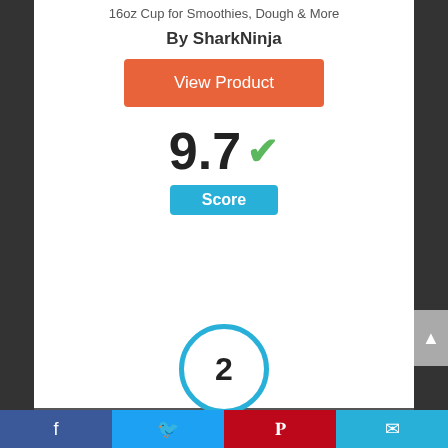16oz Cup for Smoothies, Dough & More
By SharkNinja
View Product
9.7 Score
2
Facebook | Twitter | Pinterest | Email